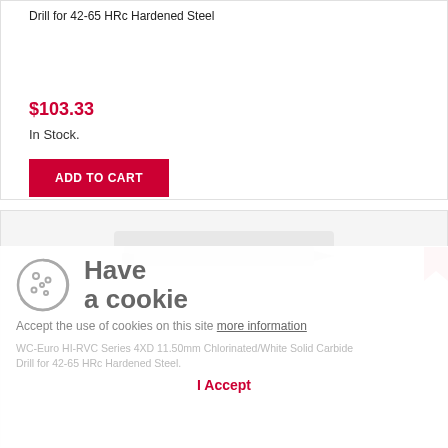Drill for 42-65 HRc Hardened Steel
$103.33
In Stock.
ADD TO CART
[Figure (photo): Product image of a solid carbide drill bit for hardened steel, shown as a cylindrical tool on a light gray background]
Have a cookie
Accept the use of cookies on this site more information
WC-Euro HI-RVC Series 4XD 11.50mm Chlorinated/White Solid Carbide Drill for 42-65 HRc Hardened Steel.
I Accept